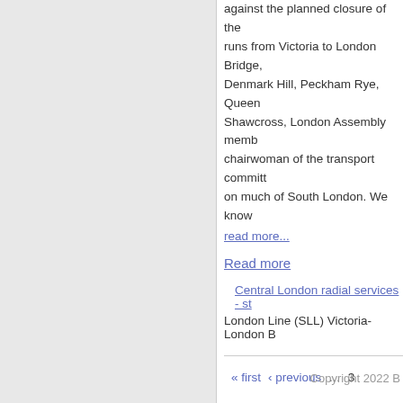against the planned closure of the ... runs from Victoria to London Bridge, Denmark Hill, Peckham Rye, Queen... Shawcross, London Assembly memb... chairwoman of the transport committ... on much of South London. We know...
read more...
Read more
Central London radial services - st...
London Line (SLL) Victoria-London B...
« first  ‹ previous  ...  3
Copyright 2022 B...